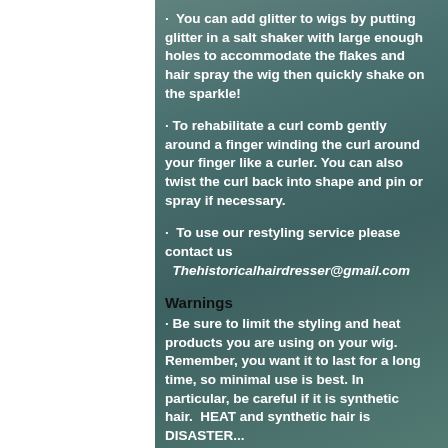· You can add glitter to wigs by putting glitter in a salt shaker with large enough holes to accommodate the flakes and hair spray the wig then quickly shake on the sparkle!
· To rehabilitate a curl comb gently around a finger winding the curl around your finger like a curler. You can also twist the curl back into shape and pin or spray if necessary.
· To use our restyling service please contact us  Thehistoricalhairdresser@gmail.com
Warnings
· Be sure to limit the styling and heat products you are using on your wig. Remember, you want it to last for a long time, so minimal use is best. In particular, be careful if it is synthetic hair. HEAT and synthetic hair is DISASTER...